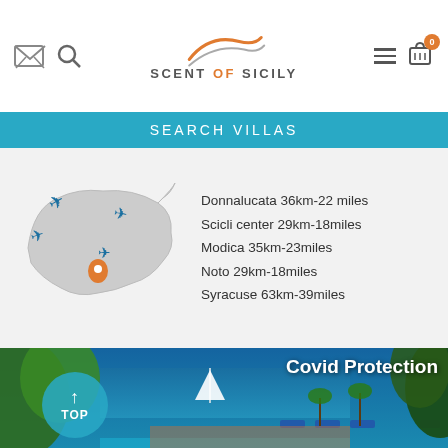Scent of Sicily website header with logo, search icon, mail icon, hamburger menu, and cart
SEARCH VILLAS
[Figure (map): Map of Sicily with airplane icons and a location pin marker]
Donnalucata 36km-22 miles
Scicli center 29km-18miles
Modica 35km-23miles
Noto 29km-18miles
Syracuse 63km-39miles
[Figure (photo): Coastal villa photo with blue sea, sailboat, lounge chairs by pool, lush greenery, and Covid Protection overlay text]
Covid Protection
↑ TOP